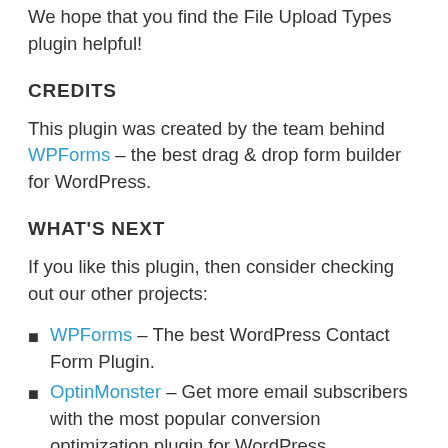We hope that you find the File Upload Types plugin helpful!
CREDITS
This plugin was created by the team behind WPForms – the best drag & drop form builder for WordPress.
WHAT'S NEXT
If you like this plugin, then consider checking out our other projects:
WPForms – The best WordPress Contact Form Plugin.
OptinMonster – Get more email subscribers with the most popular conversion optimization plugin for WordPress.
MonsterInsights – See the stats that matter and